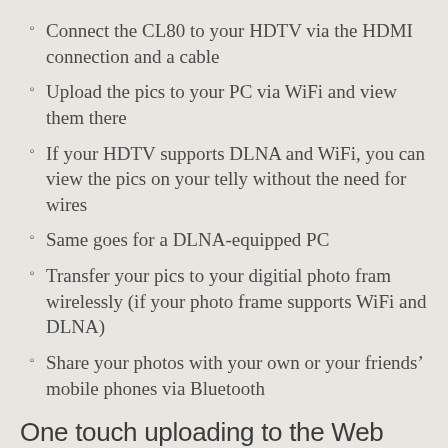Connect the CL80 to your HDTV via the HDMI connection and a cable
Upload the pics to your PC via WiFi and view them there
If your HDTV supports DLNA and WiFi, you can view the pics on your telly without the need for wires
Same goes for a DLNA-equipped PC
Transfer your pics to your digitial photo fram wirelessly (if your photo frame supports WiFi and DLNA)
Share your photos with your own or your friends’ mobile phones via Bluetooth
One touch uploading to the Web